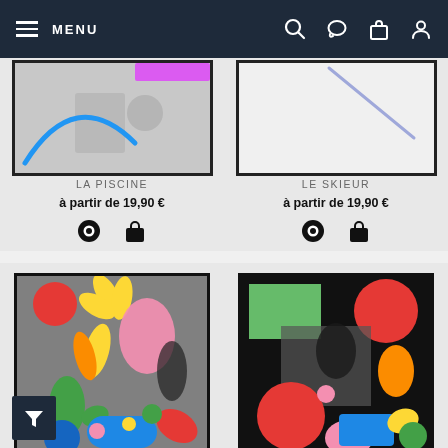MENU
[Figure (screenshot): Product card: La Piscine art print — black and white photo with blue and pink graphic overlays, framed]
LA PISCINE
à partir de 19,90 €
[Figure (screenshot): Product card: Le Skieur art print — minimal white background with blue diagonal line, framed]
LE SKIEUR
à partir de 19,90 €
[Figure (illustration): Colorful abstract art print with red circle, yellow flower shapes, pink, green, blue shapes over black and white photo, framed]
[Figure (illustration): Colorful abstract art print with green rectangle, red circles, orange drops, blue rectangle, pink half-circle, yellow shapes over dark background, framed]